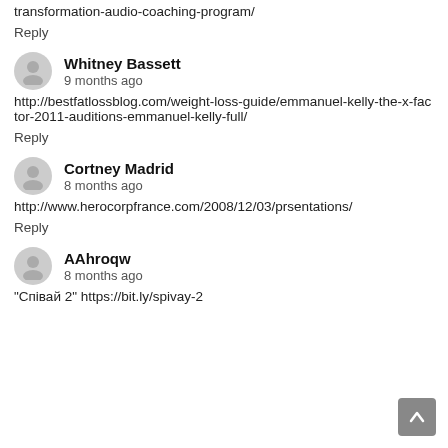transformation-audio-coaching-program/
Reply
Whitney Bassett
9 months ago
http://bestfatlossblog.com/weight-loss-guide/emmanuel-kelly-the-x-factor-2011-auditions-emmanuel-kelly-full/
Reply
Cortney Madrid
8 months ago
http://www.herocorpfrance.com/2008/12/03/prsentations/
Reply
AAhroqw
8 months ago
"Співай 2" https://bit.ly/spivay-2